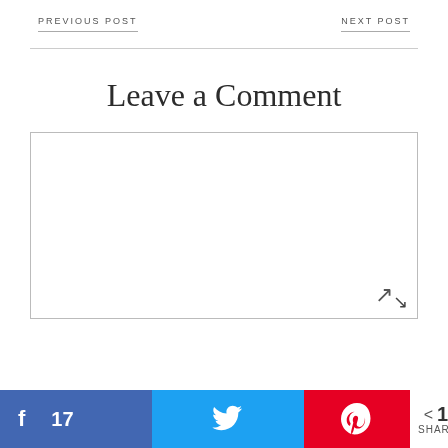PREVIOUS POST
NEXT POST
Leave a Comment
[Figure (other): Empty comment text area input box with resize handle]
f 17
[Figure (other): Twitter share button]
[Figure (other): Pinterest share button]
< 17 SHARES